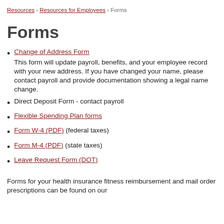Resources › Resources for Employees › Forms
Forms
Change of Address Form — This form will update payroll, benefits, and your employee record with your new address. If you have changed your name, please contact payroll and provide documentation showing a legal name change.
Direct Deposit Form - contact payroll
Flexible Spending Plan forms
Form W-4 (PDF) (federal taxes)
Form M-4 (PDF) (state taxes)
Leave Request Form (DOT)
Forms for your health insurance fitness reimbursement and mail order prescriptions can be found on our